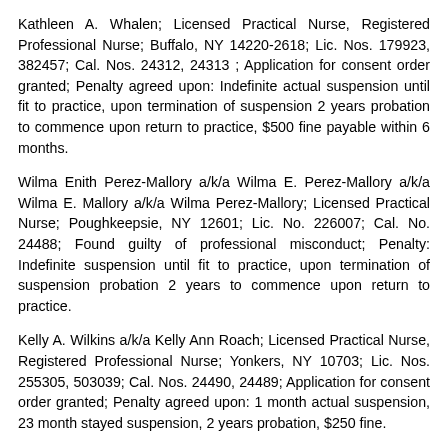Kathleen A. Whalen; Licensed Practical Nurse, Registered Professional Nurse; Buffalo, NY 14220-2618; Lic. Nos. 179923, 382457; Cal. Nos. 24312, 24313 ; Application for consent order granted; Penalty agreed upon: Indefinite actual suspension until fit to practice, upon termination of suspension 2 years probation to commence upon return to practice, $500 fine payable within 6 months.
Wilma Enith Perez-Mallory a/k/a Wilma E. Perez-Mallory a/k/a Wilma E. Mallory a/k/a Wilma Perez-Mallory; Licensed Practical Nurse; Poughkeepsie, NY 12601; Lic. No. 226007; Cal. No. 24488; Found guilty of professional misconduct; Penalty: Indefinite suspension until fit to practice, upon termination of suspension probation 2 years to commence upon return to practice.
Kelly A. Wilkins a/k/a Kelly Ann Roach; Licensed Practical Nurse, Registered Professional Nurse; Yonkers, NY 10703; Lic. Nos. 255305, 503039; Cal. Nos. 24490, 24489; Application for consent order granted; Penalty agreed upon: 1 month actual suspension, 23 month stayed suspension, 2 years probation, $250 fine.
Margaret Jane Contro a/k/a Margaret Jane Calta; Registered Professional Nurse; Windsor, NY 13865; Lic. No. 479585; Cal. No. 24547; Application for consent order granted; Penalty agreed upon: